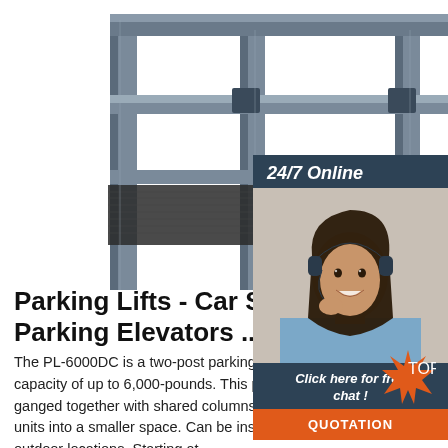[Figure (photo): Photo of a two-post parking lift / car storage elevator with steel frame structure, horizontal platform rails, chain drives on vertical columns, and an electric motor at the top. White background.]
[Figure (photo): 24/7 Online chat panel with a dark blue/teal background showing a smiling woman wearing a headset, with text 'Click here for free chat!' and an orange QUOTATION button.]
Parking Lifts - Car Storage Lifts Parking Elevators ...
The PL-6000DC is a two-post parking lift with car storage capacity of up to 6,000-pounds. This parking lift is designed to be ganged together with shared columns allowing you to fit more units into a smaller space. Can be installed in either indoor or outdoor locations. Starting at